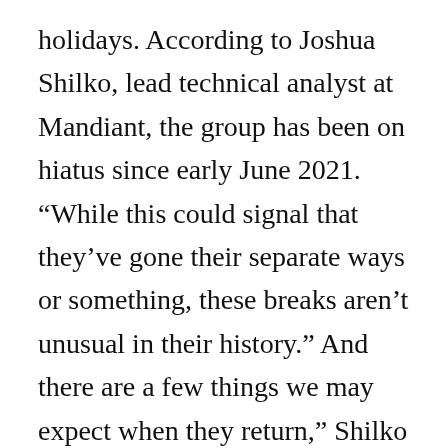holidays. According to Joshua Shilko, lead technical analyst at Mandiant, the group has been on hiatus since early June 2021. “While this could signal that they’ve gone their separate ways or something, these breaks aren’t unusual in their history.” And there are a few things we may expect when they return,” Shilko said. “Their TTPs, their playbook, has remained basically unchanged for nearly three years, which is rather astounding.” When they do make changes, they make ones that have an impact and assist them evade detection, such as modifying the obfuscation, in memory loaders, Malleable C2 ...